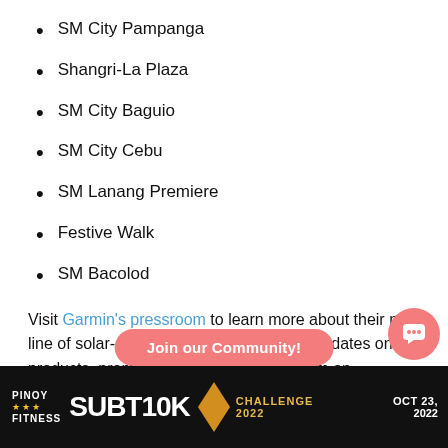SM City Pampanga
Shangri-La Plaza
SM City Baguio
SM City Cebu
SM Lanang Premiere
Festive Walk
SM Bacolod
Visit Garmin's pressroom to learn more about their new line of solar-charged smartwatches. For updates on products, promos, and events, follow them on Facebook, Instagram, and YouTube.
[Figure (illustration): Pinoy Fitness SUB10K Challenge 2022 banner with 'Join our Community!' button overlay and chat icon]